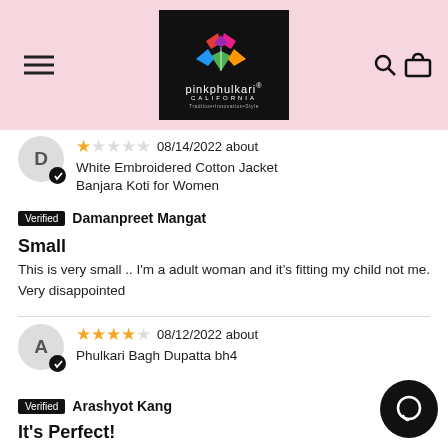[Figure (logo): PinkPhulkari California logo on black background with colorful geometric flower pattern]
1 star, 08/14/2022 about White Embroidered Cotton Jacket Banjara Koti for Women
Verified Damanpreet Mangat
Small
This is very small .. I'm a adult woman and it's fitting my child not me. Very disappointed
4 stars, 08/12/2022 about Phulkari Bagh Dupatta bh4
Verified Arashyot Kang
It's Perfect!